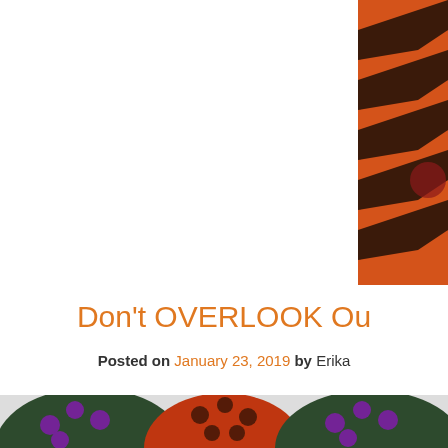[Figure (photo): Partial view of a rug or carpet with orange and brown chevron/hexagonal pattern, cropped to the right edge of the page]
Don't OVERLOOK Ou
Posted on January 23, 2019  by Erika
[Figure (photo): Three decorative pillows with peacock/hexagon pattern in purple, green, and orange colors, displayed leaning against each other]